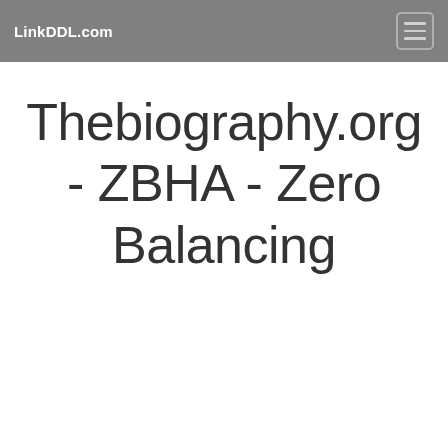LinkDDL.com
Thebiography.org - ZBHA - Zero Balancing